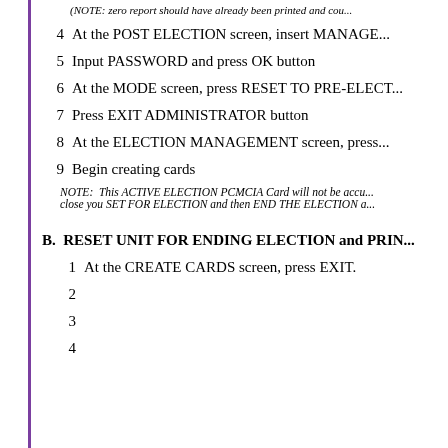(NOTE: zero report should have already been printed and cou...
4  At the POST ELECTION screen, insert MANAGE...
5  Input PASSWORD and press OK button
6  At the MODE screen, press RESET TO PRE-ELECT...
7  Press EXIT ADMINISTRATOR button
8  At the ELECTION MANAGEMENT screen, press...
9  Begin creating cards
NOTE: This ACTIVE ELECTION PCMCIA Card will not be accu... close you SET FOR ELECTION and then END THE ELECTION a...
B.  RESET UNIT FOR ENDING ELECTION and PRIN...
1  At the CREATE CARDS screen, press EXIT.
2
3
4